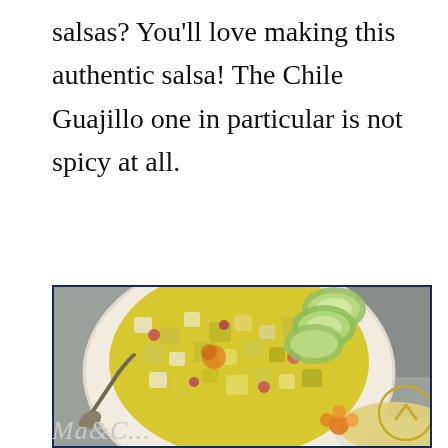salsas? You'll love making this authentic salsa! The Chile Guajillo one in particular is not spicy at all.
[Figure (photo): A white bowl filled with colorful salsa made of diced yellow mango, jicama, red onion, and orange bits, garnished with cucumber slices on top. A spoon rests beside the bowl on a gray surface. Small orange flowers and tortilla chips are visible nearby. A golden circle with upward chevron (scroll-to-top button) is in the lower right corner.]
Ma...& C... (watermark/logo, partially visible)